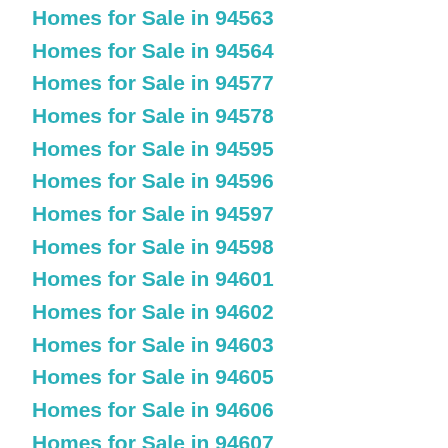Homes for Sale in 94563
Homes for Sale in 94564
Homes for Sale in 94577
Homes for Sale in 94578
Homes for Sale in 94595
Homes for Sale in 94596
Homes for Sale in 94597
Homes for Sale in 94598
Homes for Sale in 94601
Homes for Sale in 94602
Homes for Sale in 94603
Homes for Sale in 94605
Homes for Sale in 94606
Homes for Sale in 94607
Homes for Sale in 94608
Homes for Sale in 94609
Homes for Sale in 94610